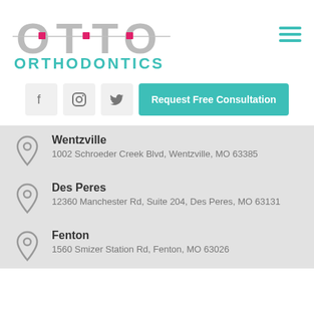[Figure (logo): Otto Orthodontics logo with large grey OTTO letters and horizontal line with pink squares, teal ORTHODONTICS text below]
[Figure (infographic): Hamburger menu icon (three teal horizontal lines) in top right corner]
[Figure (infographic): Social media icons (Facebook, Instagram, Twitter) as grey square buttons, followed by teal Request Free Consultation button]
Wentzville
1002 Schroeder Creek Blvd, Wentzville, MO 63385
Des Peres
12360 Manchester Rd, Suite 204, Des Peres, MO 63131
Fenton
1560 Smizer Station Rd, Fenton, MO 63026